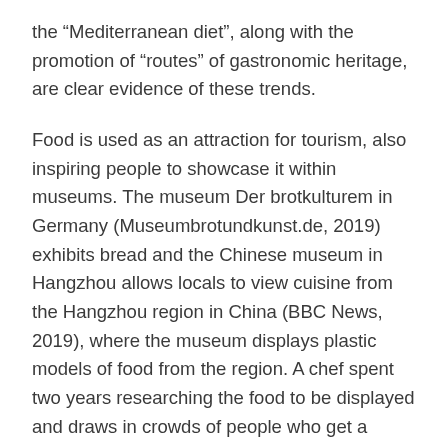the “Mediterranean diet”, along with the promotion of “routes” of gastronomic heritage, are clear evidence of these trends.
Food is used as an attraction for tourism, also inspiring people to showcase it within museums. The museum Der brotkulturem in Germany (Museumbrotundkunst.de, 2019) exhibits bread and the Chinese museum in Hangzhou allows locals to view cuisine from the Hangzhou region in China (BBC News, 2019), where the museum displays plastic models of food from the region. A chef spent two years researching the food to be displayed and draws in crowds of people who get a glimpse into their past and their heritage, as mentioned by. This gives visitors an opportunity to relive a recent past while marveling over the more ancient past. One of